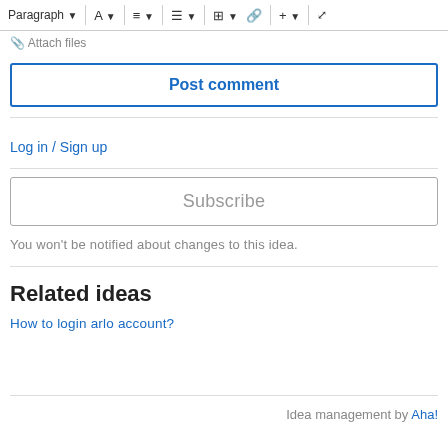[Figure (screenshot): Text editor toolbar with Paragraph dropdown, font, alignment, list, table, link, insert, and fullscreen controls]
📎 Attach files
Post comment
Log in / Sign up
Subscribe
You won't be notified about changes to this idea.
Related ideas
How to login arlo account?
Idea management by Aha!